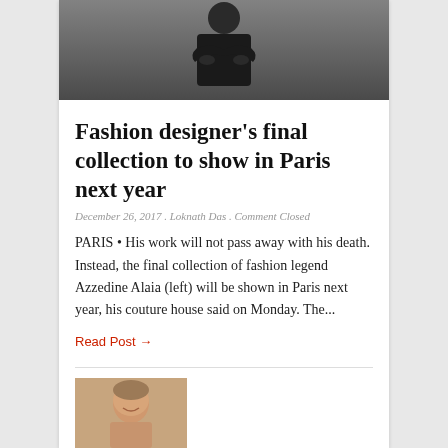[Figure (photo): Person in black clothing with arms crossed, hero image for article]
Fashion designer's final collection to show in Paris next year
December 26, 2017 . Loknath Das . Comment Closed
PARIS • His work will not pass away with his death. Instead, the final collection of fashion legend Azzedine Alaia (left) will be shown in Paris next year, his couture house said on Monday. The...
Read Post →
[Figure (photo): Partial image of a person, second article preview image]